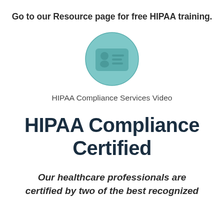Go to our Resource page for free HIPAA training.
[Figure (illustration): A teal circle icon containing a stylized ID badge/card with a person silhouette on the left and horizontal lines on the right, representing HIPAA compliance services.]
HIPAA Compliance Services Video
HIPAA Compliance Certified
Our healthcare professionals are certified by two of the best recognized